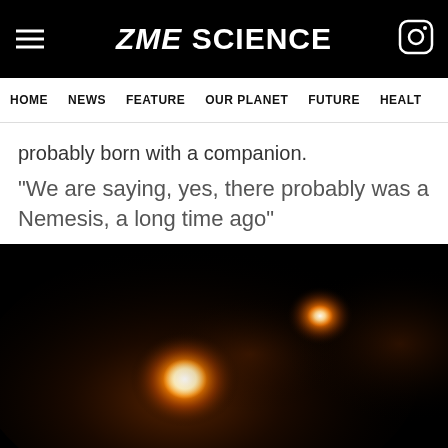ZME SCIENCE
HOME  NEWS  FEATURE  OUR PLANET  FUTURE  HEALT
probably born with a companion.
“We are saying, yes, there probably was a Nemesis, a long time ago”
[Figure (photo): Astronomical infrared image showing two glowing orange-white star-like objects against a dark black background, likely a binary star system or forming stars.]